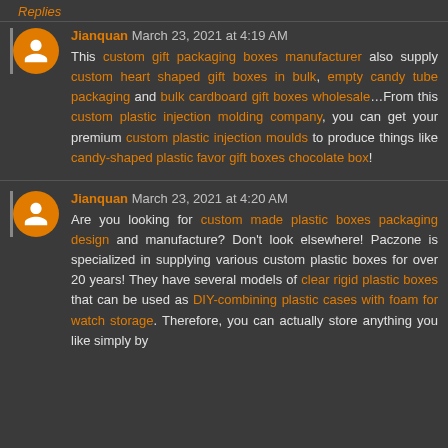Replies
Jianquan March 23, 2021 at 4:19 AM
This custom gift packaging boxes manufacturer also supply custom heart shaped gift boxes in bulk, empty candy tube packaging and bulk cardboard gift boxes wholesale...From this custom plastic injection molding company, you can get your premium custom plastic injection moulds to produce things like candy-shaped plastic favor gift boxes chocolate box!
Jianquan March 23, 2021 at 4:20 AM
Are you looking for custom made plastic boxes packaging design and manufacture? Don't look elsewhere! Paczone is specialized in supplying various custom plastic boxes for over 20 years! They have several models of clear rigid plastic boxes that can be used as DIY-combining plastic cases with foam for watch storage. Therefore, you can actually store anything you like simply by